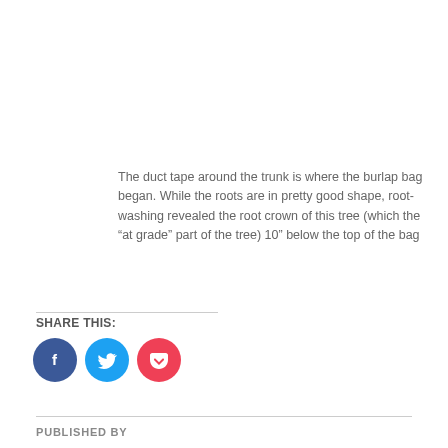The duct tape around the trunk is where the burlap bag began. While the roots are in pretty good shape, root-washing revealed the root crown of this tree (which the “at grade” part of the tree) 10” below the top of the bag
SHARE THIS:
[Figure (other): Social sharing icons: Facebook (blue circle), Twitter (light blue circle), Pocket (red/pink circle)]
PUBLISHED BY